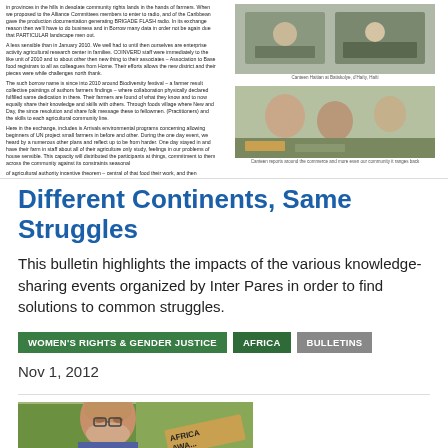[Figure (photo): Article page with two columns: left column has small text body of an article, right column has two photos of community/market scenes with captions]
Different Continents, Same Struggles
This bulletin highlights the impacts of the various knowledge-sharing events organized by Inter Pares in order to find solutions to common struggles.
WOMEN'S RIGHTS & GENDER JUSTICE
AFRICA
BULLETINS
Nov 1, 2012
[Figure (photo): Portrait photo of a smiling bearded man, partially shown, with a book or sign reading AFRICA AWAK... visible in the lower right]